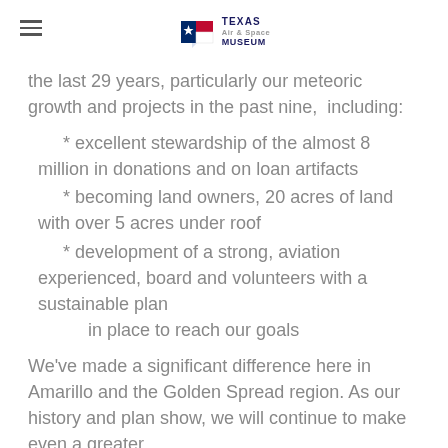Texas Air & Space Museum
the last 29 years, particularly our meteoric growth and projects in the past nine,  including:
* excellent stewardship of the almost 8 million in donations and on loan artifacts
* becoming land owners, 20 acres of land with over 5 acres under roof
* development of a strong, aviation experienced, board and volunteers with a sustainable plan
        in place to reach our goals
We've made a significant difference here in Amarillo and the Golden Spread region. As our history and plan show, we will continue to make even a greater